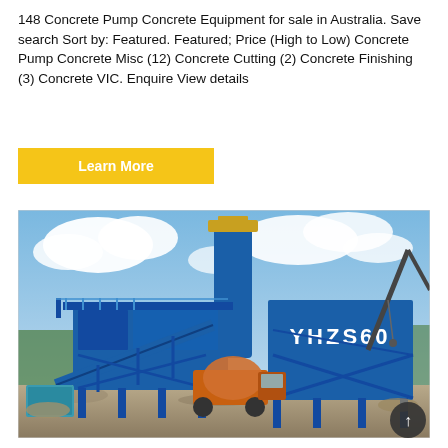148 Concrete Pump Concrete Equipment for sale in Australia. Save search Sort by: Featured. Featured; Price (High to Low) Concrete Pump Concrete Misc (12) Concrete Cutting (2) Concrete Finishing (3) Concrete VIC. Enquire View details
Learn More
[Figure (photo): Large blue concrete batching plant labeled YHZS60 on a construction site, with a tall cylindrical blue silo, conveyor belt structures, and an orange concrete mixer truck visible in the background under a partly cloudy sky.]